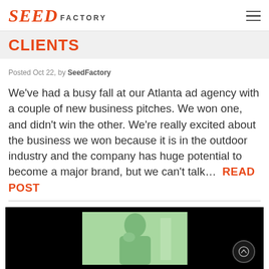SEED FACTORY
CLIENTS
Posted Oct 22, by SeedFactory
We've had a busy fall at our Atlanta ad agency with a couple of new business pitches. We won one, and didn't win the other. We're really excited about the business we won because it is in the outdoor industry and the company has huge potential to become a major brand, but we can't talk...  READ POST
[Figure (photo): Video thumbnail showing a person with hand near face against a light green background, on a black video player background with a scroll-up button overlay]